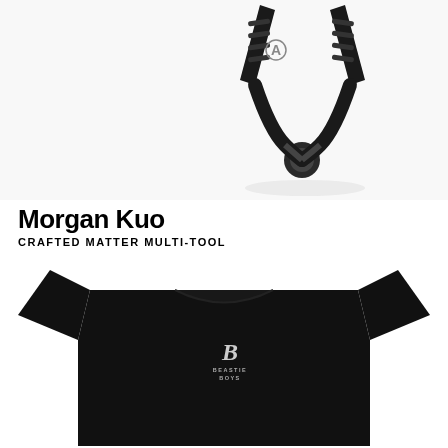[Figure (photo): Close-up black and white photo of a multi-tool (pliers/knife tool) with black handles, partially open, showing a 'A' logo on the handle. Tool is positioned centrally on a white background with shadow.]
Morgan Kuo
CRAFTED MATTER MULTI-TOOL
[Figure (photo): Black t-shirt laid flat on white background. A small white 'B' logo with 'BEASTIE BOYS' text below it is visible on the chest area. The shirt is a crew neck short-sleeve tee.]